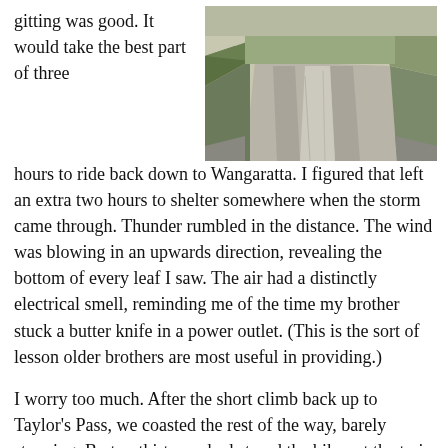gitting was good. It would take the best part of three hours to ride back down to Wangaratta. I figured that left an extra two hours to shelter somewhere when the storm came through. Thunder rumbled in the distance. The wind was blowing in an upwards direction, revealing the bottom of every leaf I saw. The air had a distinctly electrical smell, reminding me of the time my brother stuck a butter knife in a power outlet. (This is the sort of lesson older brothers are most useful in providing.)
[Figure (photo): A gravel road stretching into the distance, flanked by trees and vegetation on the right side, viewed from a low angle.]
I worry too much. After the short climb back up to Taylor’s Pass, we coasted the rest of the way, barely stopping. By ten-thirty we had stored the bikes at the train station with three hours to luxuriate in wondrous Wangaratta. This worked out to be about two hours and forty-five minutes more than required.